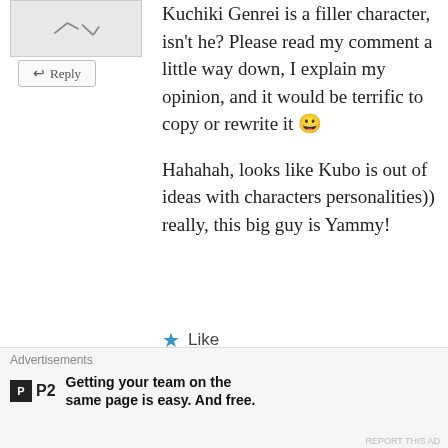[Figure (other): Small avatar image with decorative marks at top left]
↤ Reply
Kuchiki Genrei is a filler character, isn't he? Please read my comment a little way down, I explain my opinion, and it would be terrific to copy or rewrite it 😀
Hahahah, looks like Kubo is out of ideas with characters personalities)) really, this big guy is Yammy!
★ Like
[Figure (photo): Avatar photo of anime character with dark hair, for user zla92]
zla92
July 26, 2012 at 7:43 am
He is but the zanpakto rebellion was the
Advertisements
Getting your team on the same page is easy. And free.